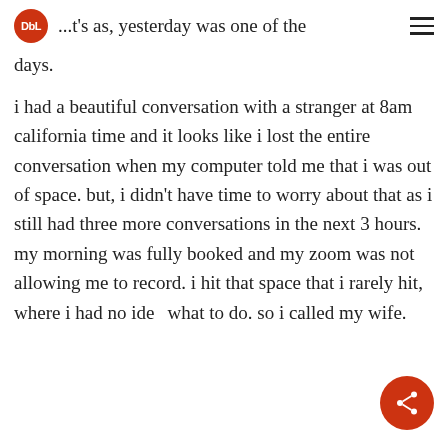DbL ...t's as, yesterday was one of the days.
i had a beautiful conversation with a stranger at 8am california time and it looks like i lost the entire conversation when my computer told me that i was out of space. but, i didn't have time to worry about that as i still had three more conversations in the next 3 hours. my morning was fully booked and my zoom was not allowing me to record. i hit that space that i rarely hit, where i had no ide... what to do. so i called my wife.